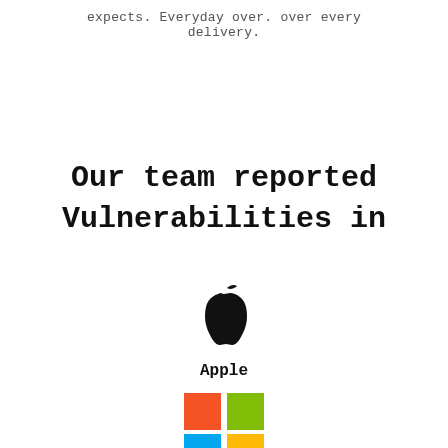expects. Everyday over. over every delivery.
Our team reported Vulnerabilities in
[Figure (logo): Apple logo (black apple silhouette with leaf)]
Apple
[Figure (logo): Microsoft logo (four colored squares: red top-left, green top-right, blue bottom-left, yellow bottom-right)]